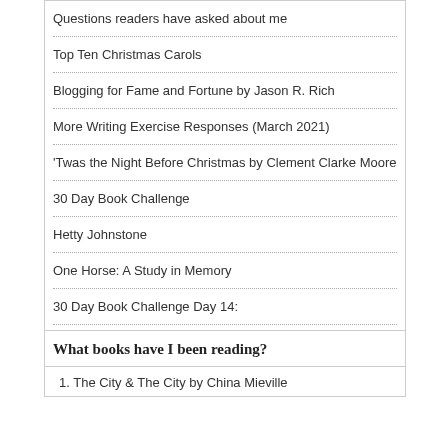Questions readers have asked about me
Top Ten Christmas Carols
Blogging for Fame and Fortune by Jason R. Rich
More Writing Exercise Responses (March 2021)
'Twas the Night Before Christmas by Clement Clarke Moore
30 Day Book Challenge
Hetty Johnstone
One Horse: A Study in Memory
30 Day Book Challenge Day 14:
Books I Read in March 2013
What books have I been reading?
1. The City & The City by China Mieville